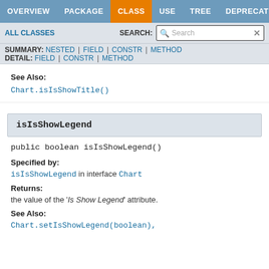OVERVIEW | PACKAGE | CLASS | USE | TREE | DEPRECATED
ALL CLASSES   SEARCH:
SUMMARY: NESTED | FIELD | CONSTR | METHOD   DETAIL: FIELD | CONSTR | METHOD
See Also:
Chart.isIsShowTitle()
isIsShowLegend
public boolean isIsShowLegend()
Specified by:
isIsShowLegend in interface Chart
Returns:
the value of the 'Is Show Legend' attribute.
See Also:
Chart.setIsShowLegend(boolean),